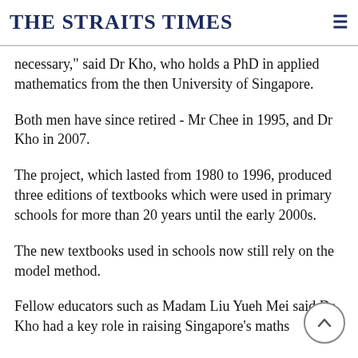THE STRAITS TIMES
necessary," said Dr Kho, who holds a PhD in applied mathematics from the then University of Singapore.
Both men have since retired - Mr Chee in 1995, and Dr Kho in 2007.
The project, which lasted from 1980 to 1996, produced three editions of textbooks which were used in primary schools for more than 20 years until the early 2000s.
The new textbooks used in schools now still rely on the model method.
Fellow educators such as Madam Liu Yueh Mei said Dr Kho had a key role in raising Singapore's maths